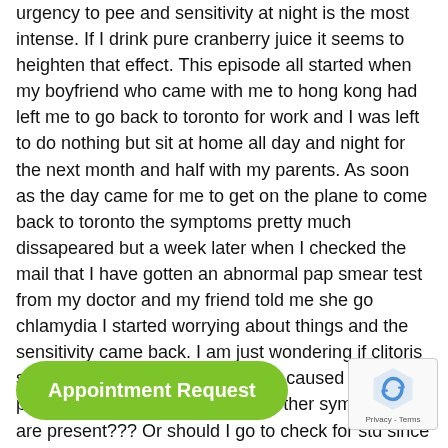urgency to pee and sensitivity at night is the most intense. If I drink pure cranberry juice it seems to heighten that effect. This episode all started when my boyfriend who came with me to hong kong had left me to go back to toronto for work and I was left to do nothing but sit at home all day and night for the next month and half with my parents. As soon as the day came for me to get on the plane to come back to toronto the symptoms pretty much dissapeared but a week later when I checked the mail that I have gotten an abnormal pap smear test from my doctor and my friend told me she go chlamydia I started worrying about things and the sensitivity came back. I am just wondering if clitoris sensitivity or disturbances can be caused by psychological factors if no other other symptoms are present??? Or should I go to check for std since I went through the UTI antibiotic treatment already??
Also I went through a bad past before my current long time relationship.
I was dating this one guy (B) for 11 months and he cheated on me with this girl towards the end of our relationship and is still currently with that girl as of today. We had unpro sex. But he was a nurse and was sure he had no STD o no symptoms of anything while with him.